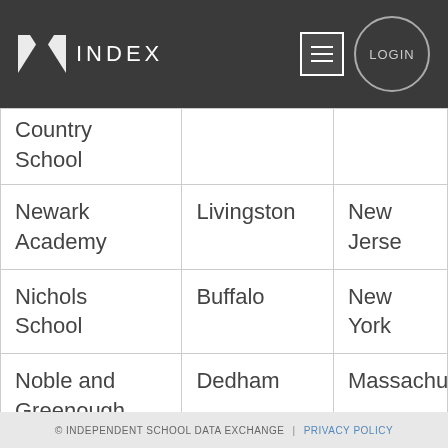S INDEX | LOGIN
| School | City | State |
| --- | --- | --- |
| Country School |  |  |
| Newark Academy | Livingston | New Jersey |
| Nichols School | Buffalo | New York |
| Noble and Greenough School | Dedham | Massachusetts |
| Norfolk | Norfolk | Virginia |
© INDEPENDENT SCHOOL DATA EXCHANGE | PRIVACY POLICY